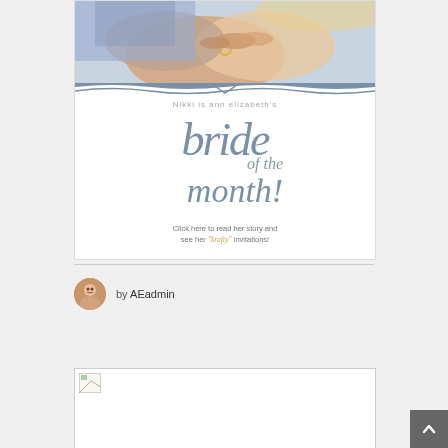[Figure (photo): Wedding photo card showing hands holding, with decorative script text: 'Nikki is ann elizabeth's bride of the month! Click here to read her story and see her "krafty" invitations!']
by AEadmin
[Figure (photo): Broken image placeholder at bottom of page]